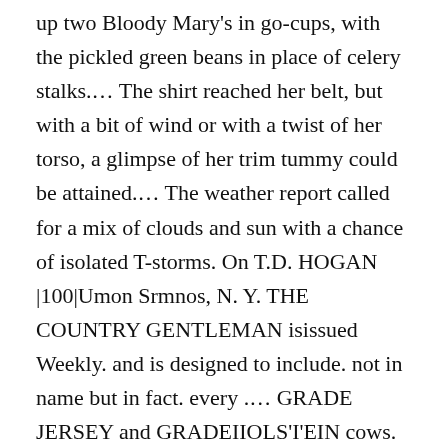up two Bloody Mary's in go-cups, with the pickled green beans in place of celery stalks.… The shirt reached her belt, but with a bit of wind or with a twist of her torso, a glimpse of her trim tummy could be attained.… The weather report called for a mix of clouds and sun with a chance of isolated T-storms. On T.D. HOGAN |100|Umon Srmnos, N. Y. THE COUNTRY GENTLEMAN isissued Weekly. and is designed to include. not in name but in fact. every .… GRADE JERSEY and GRADEIIOLS'I'EIN cows. to drop their calves September. October … $50 T0 $100 A MONTH For Local and Traveling Men to sell Fruit and Ornamental Stock.… Combines blood of Stoke Pogis 3d and 5th. and of Ida of St. Lambert 24504].… A FINE CHANCE TO buy Thoroughbred HOLSTEIN CATTLE